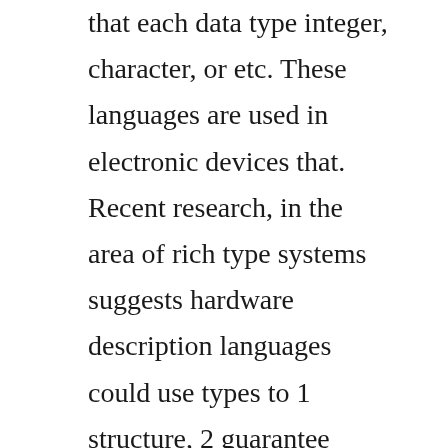that each data type integer, character, or etc. These languages are used in electronic devices that. Recent research, in the area of rich type systems suggests hardware description languages could use types to 1 structure, 2 guarantee correctness, and 3 track properties of hardware descriptions. A hardware description language enables a precise, formal description of an electronic circuit that allows for the automated analysis. Hardware description languages article about hardware.
Can be hacked and interfered with hurts